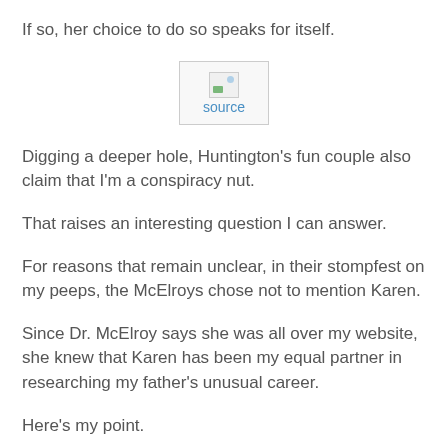If so, her choice to do so speaks for itself.
[Figure (other): A broken image placeholder with a 'source' link below it, styled as a bordered box.]
Digging a deeper hole, Huntington's fun couple also claim that I'm a conspiracy nut.
That raises an interesting question I can answer.
For reasons that remain unclear, in their stompfest on my peeps, the McElroys chose not to mention Karen.
Since Dr. McElroy says she was all over my website, she knew that Karen has been my equal partner in researching my father's unusual career.
Here's my point.
Since they disappeared Karen, it's unclear if the McElroys